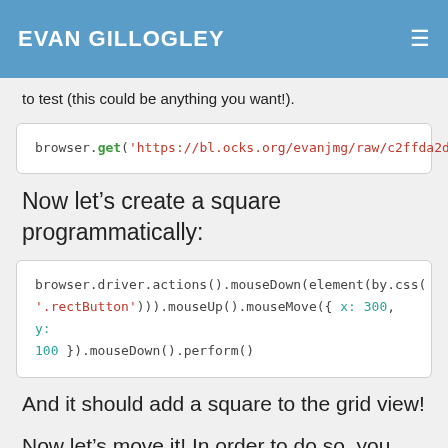EVAN GILLOGLEY
to test (this could be anything you want!).
[Figure (screenshot): Code block: browser.get('https://bl.ocks.org/evanjmg/raw/c2ffda2df9748e56425194eb5e6ea878/73d2cee03e1f8aedbc9127f0fa429fea7f1a171e/')]
Now let’s create a square programmatically:
[Figure (screenshot): Code block: browser.driver.actions().mouseDown(element(by.css('.rectButton'))).mouseUp().mouseMove({ x: 300, y: 100 }).mouseDown().perform()]
And it should add a square to the grid view!
Now let’s move it! In order to do so, you